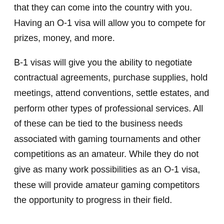that they can come into the country with you. Having an O-1 visa will allow you to compete for prizes, money, and more.
B-1 visas will give you the ability to negotiate contractual agreements, purchase supplies, hold meetings, attend conventions, settle estates, and perform other types of professional services. All of these can be tied to the business needs associated with gaming tournaments and other competitions as an amateur. While they do not give as many work possibilities as an O-1 visa, these will provide amateur gaming competitors the opportunity to progress in their field.